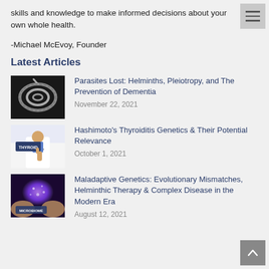skills and knowledge to make informed decisions about your own whole health.
-Michael McEvoy, Founder
Latest Articles
[Figure (photo): Microscopic image of a coiled helminth/roundworm parasite on dark background]
Parasites Lost: Helminths, Pleiotropy, and The Prevention of Dementia
November 22, 2021
[Figure (photo): Doctor in white coat pointing with finger at the word THYROID]
Hashimoto's Thyroiditis Genetics & Their Potential Relevance
October 1, 2021
[Figure (photo): Hands holding glowing microbiome illustration with MICROBIOME label]
Maladaptive Genetics: Evolutionary Mismatches, Helminthic Therapy & Complex Disease in the Modern Era
August 12, 2021